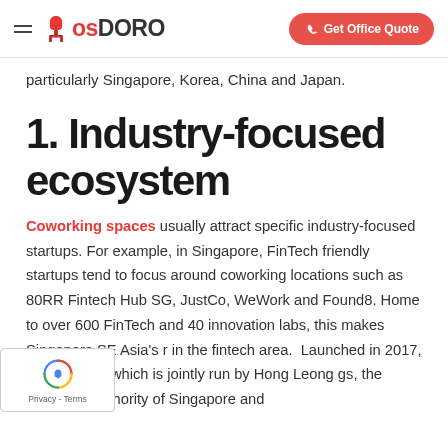CosDORO — Get Office Quote
particularly Singapore, Korea, China and Japan.
1. Industry-focused ecosystem
Coworking spaces usually attract specific industry-focused startups. For example, in Singapore, FinTech friendly startups tend to focus around coworking locations such as 80RR Fintech Hub SG, JustCo, WeWork and Found8. Home to over 600 FinTech and 40 innovation labs, this makes Singapore SE Asia's r in the fintech area.  Launched in 2017, 80RR h Hub which is jointly run by Hong Leong gs, the Monetary Authority of Singapore and
[Figure (other): reCAPTCHA Privacy - Terms badge overlay in bottom-left corner]